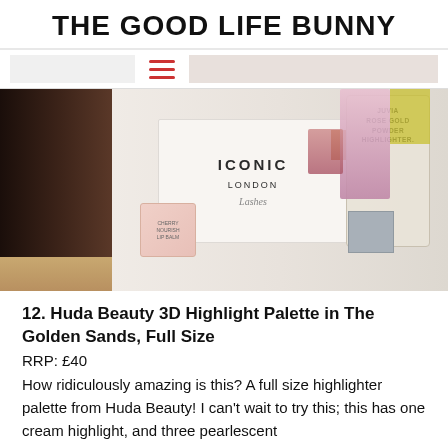THE GOOD LIFE BUNNY
[Figure (photo): A flat lay / shelf display of beauty products including an Iconic London highlighter palette box, a small pink product box, products in clear bags, pink perfume bottles, and other beauty items arranged on a wooden surface.]
12. Huda Beauty 3D Highlight Palette in The Golden Sands, Full Size
RRP: £40
How ridiculously amazing is this? A full size highlighter palette from Huda Beauty! I can't wait to try this; this has one cream highlight, and three pearlescent